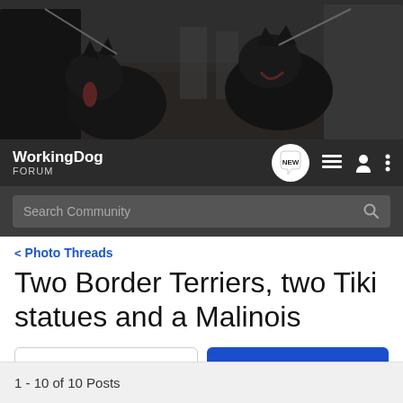[Figure (photo): Dark military-style photo of two German Shepherds on leash with handlers in camouflage/navy uniforms outdoors]
[Figure (screenshot): WorkingDog Forum navigation bar with logo, NEW button, list icon, user icon, and vertical dots menu icon, plus search bar]
< Photo Threads
Two Border Terriers, two Tiki statues and a Malinois
→ Jump to Latest
+ Follow
1 - 10 of 10 Posts